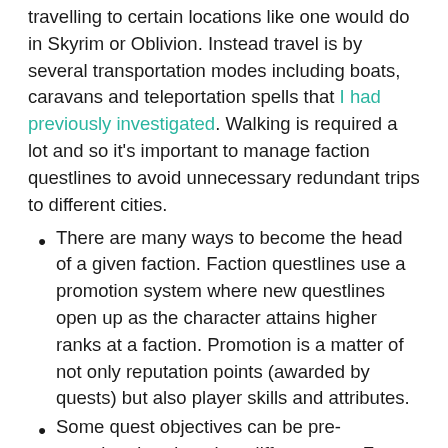travelling to certain locations like one would do in Skyrim or Oblivion. Instead travel is by several transportation modes including boats, caravans and teleportation spells that I had previously investigated. Walking is required a lot and so it's important to manage faction questlines to avoid unnecessary redundant trips to different cities.
There are many ways to become the head of a given faction. Faction questlines use a promotion system where new questlines open up as the character attains higher ranks at a faction. Promotion is a matter of not only reputation points (awarded by quests) but also player skills and attributes.
Some quest objectives can be pre-completed or done in a different way. For example, if the quest giver wants the player to kill someone, that someone can often be killed before the quest even starts, at which point, most of the time, the quest giver will give the player the reward anyway. However,